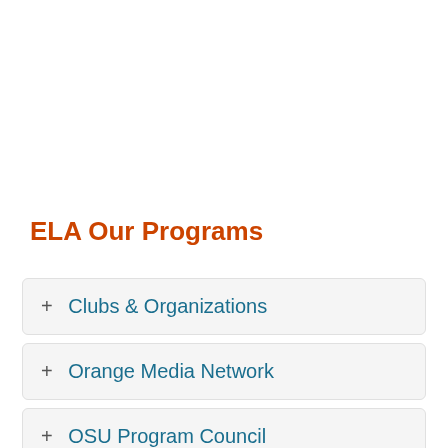ELA Our Programs
+ Clubs & Organizations
+ Orange Media Network
+ OSU Program Council